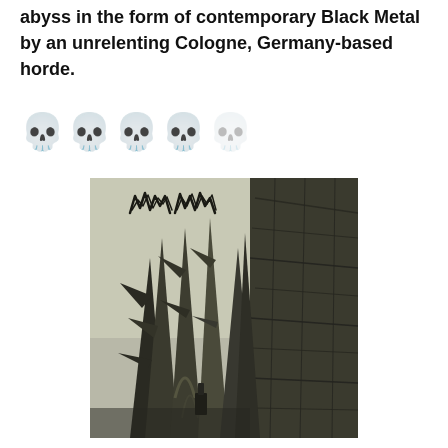abyss in the form of contemporary Black Metal by an unrelenting Cologne, Germany-based horde.
[Figure (other): Five skull emoji rating icons arranged in a row, with four fully colored skull emojis with red maple leaf motif and one faded/empty skull emoji, indicating a rating of 4 out of 5]
[Figure (photo): Album cover artwork showing dark gothic imagery with large thorned branches or spikes rising against a pale grey sky, with dark architectural elements on the right side and what appears to be a band logo in black metal style lettering at the top. The image is monochromatic in dark grey and olive tones.]